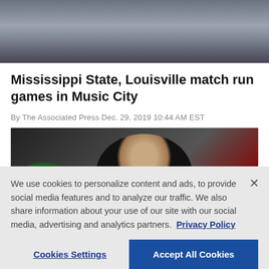[Figure (photo): Football players on field, partial view from above, maroon/dark uniforms]
Mississippi State, Louisville match run games in Music City
By The Associated Press Dec. 29, 2019 10:44 AM EST
[Figure (photo): Football coach wearing headset and cap looking up, with green glove visible on left and red helmet on right]
We use cookies to personalize content and ads, to provide social media features and to analyze our traffic. We also share information about your use of our site with our social media, advertising and analytics partners. Privacy Policy
Cookies Settings | Accept All Cookies